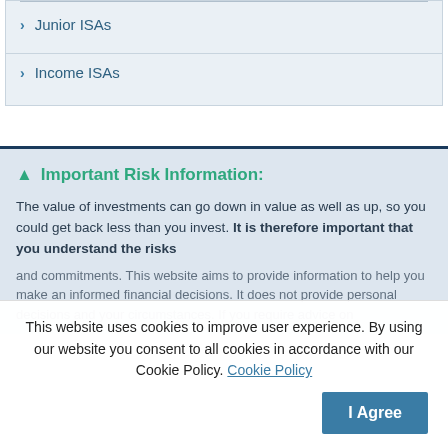Junior ISAs
Income ISAs
⚠ Important Risk Information:
The value of investments can go down in value as well as up, so you could get back less than you invest. It is therefore important that you understand the risks and commitments. This website aims to provide information to help you make an informed financial decisions. It does not provide personal decisions and your circumstances. If you require advice on
This website uses cookies to improve user experience. By using our website you consent to all cookies in accordance with our Cookie Policy. Cookie Policy  |  I Agree